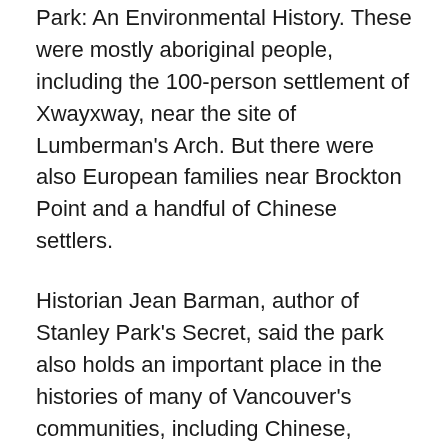Park: An Environmental History. These were mostly aboriginal people, including the 100-person settlement of Xwayxway, near the site of Lumberman's Arch. But there were also European families near Brockton Point and a handful of Chinese settlers.
Historian Jean Barman, author of Stanley Park's Secret, said the park also holds an important place in the histories of many of Vancouver's communities, including Chinese, Japanese and South Asian.
At a time when certain Canadians weren't allowed to eat at restaurants or use swimming pools because of the way they looked, "you came into Stanley Park and nobody would kick you out." In her research and interviews with Asian Canadian historians, Barman said a recurring theme was Stanley Park providing a respite from the discrimination faced by Asians.